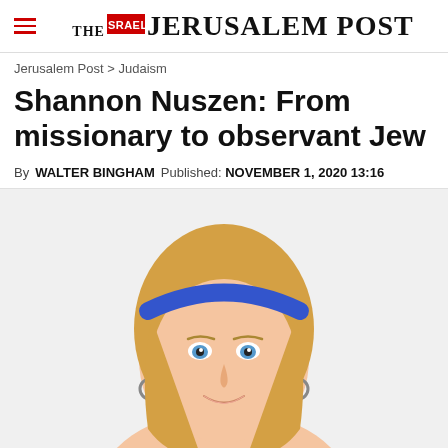THE JERUSALEM POST
Jerusalem Post > Judaism
Shannon Nuszen: From missionary to observant Jew
By WALTER BINGHAM   Published: NOVEMBER 1, 2020 13:16
[Figure (photo): Portrait photo of Shannon Nuszen, a blonde woman with blue eyes wearing a blue headband and hoop earrings, smiling at the camera against a white background.]
Advertisement